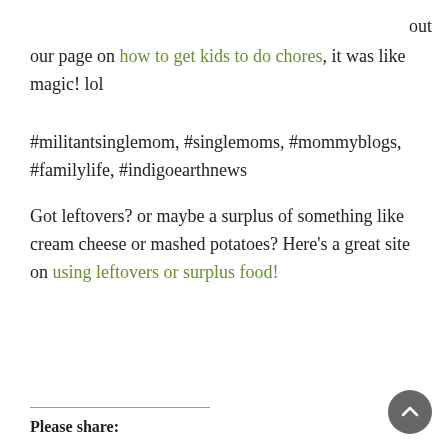out
our page on how to get kids to do chores, it was like magic! lol
#militantsinglemom, #singlemoms, #mommyblogs, #familylife, #indigoearthnews
Got leftovers? or maybe a surplus of something like cream cheese or mashed potatoes? Here's a great site on using leftovers or surplus food!
Please share: